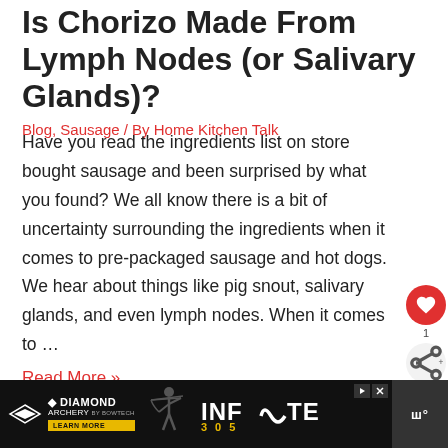Is Chorizo Made From Lymph Nodes (or Salivary Glands)?
Blog, Sausage / By Home Kitchen Talk
Have you read the ingredients list on store bought sausage and been surprised by what you found? We all know there is a bit of uncertainty surrounding the ingredients when it comes to pre-packaged sausage and hot dogs. We hear about things like pig snout, salivary glands, and even lymph nodes. When it comes to …
Read More »
[Figure (screenshot): Diamond Archery advertisement banner with archer silhouette and INFINITE 305 text logo, with play/close buttons and a dark sidebar icon]